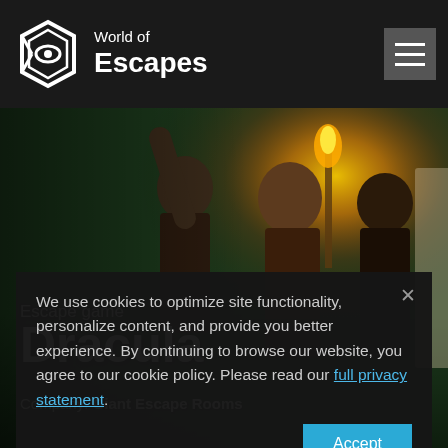World of Escapes
[Figure (photo): Hero image showing three people (two men and a woman) in a dark, ivy-covered outdoor setting with a lit torch glowing orange in the background and a stone statue on the right side.]
Escape game
Dracula
Company: Giant Escape Rooms
We use cookies to optimize site functionality, personalize content, and provide you better experience. By continuing to browse our website, you agree to our cookie policy. Please read our full privacy statement.
Accept